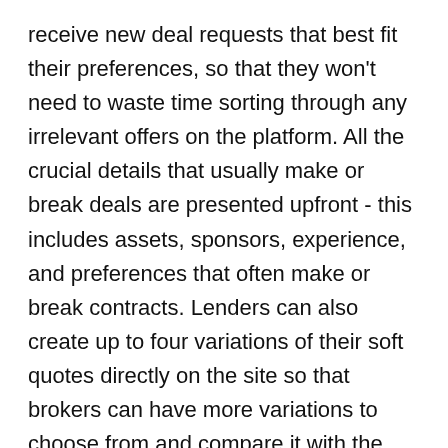receive new deal requests that best fit their preferences, so that they won't need to waste time sorting through any irrelevant offers on the platform. All the crucial details that usually make or break deals are presented upfront - this includes assets, sponsors, experience, and preferences that often make or break contracts. Lenders can also create up to four variations of their soft quotes directly on the site so that brokers can have more variations to choose from and compare it with the other similar loan packages quoted.
Created specifically for the digital age, Finance Lobby's online platform makes it more convenient for lenders to update their profiles (much like any social media profile) whenever their business preferences change. This feature ensures that the kinds of deals visible to the